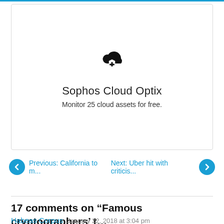[Figure (logo): Sophos Cloud Optix advertisement box with cloud-plus shield icon, title 'Sophos Cloud Optix', subtitle 'Monitor 25 cloud assets for free.']
Previous: California to m...
Next: Uber hit with criticis...
17 comments on “Famous cryptographers’ t…
Habeas Corpus  January 22, 2018 at 3:04 pm